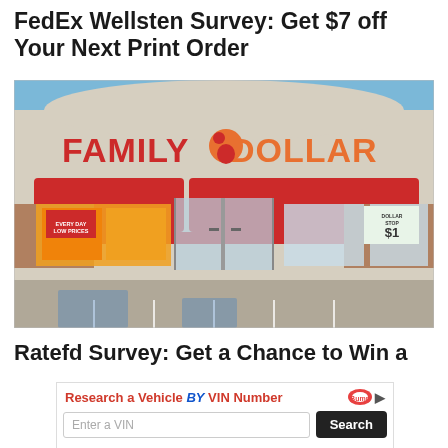FedEx Wellsten Survey: Get $7 off Your Next Print Order
[Figure (photo): Exterior photo of a Family Dollar store with red awning and large red store sign reading FAMILY DOLLAR. Storefront has glass doors, promotional signs in windows. Parking lot in foreground with accessibility markings.]
Ratefd Survey: Get a Chance to Win a
[Figure (infographic): Advertisement banner: 'Research a Vehicle BY VIN Number' with Bump logo, a VIN number input field, and a Search button.]